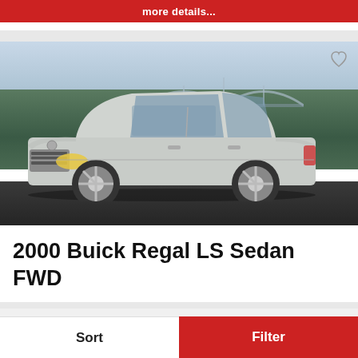more details...
[Figure (photo): Silver 2000 Buick Regal LS Sedan FWD photographed from the front-left angle, parked on a dark surface with a green field and bridge/overpass in the background. A heart/favorite icon appears in the top-right corner of the image.]
2000 Buick Regal LS Sedan FWD
Sort
Filter